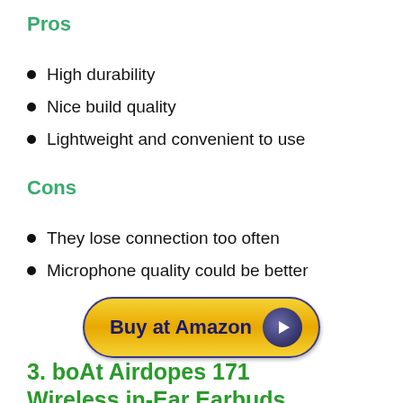Pros
High durability
Nice build quality
Lightweight and convenient to use
Cons
They lose connection too often
Microphone quality could be better
[Figure (other): Buy at Amazon button with play icon]
3. boAt Airdopes 171 Wireless in-Ear Earbuds